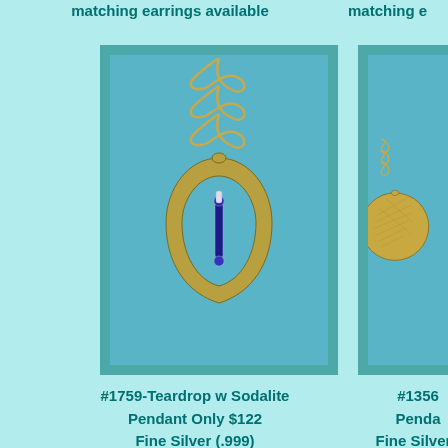matching earrings available
matching e...
[Figure (photo): Gold teardrop pendant necklace with sodalite stone hanging inside the teardrop shape, on a teal background]
#1759-Teardrop w Sodalite
Pendant Only $122
Fine Silver (.999)
[Figure (photo): Partially visible round gold coin-style pendant necklace on teal background, cropped on right side]
#1356...
Penda...
Fine Silver (...)
matching e...